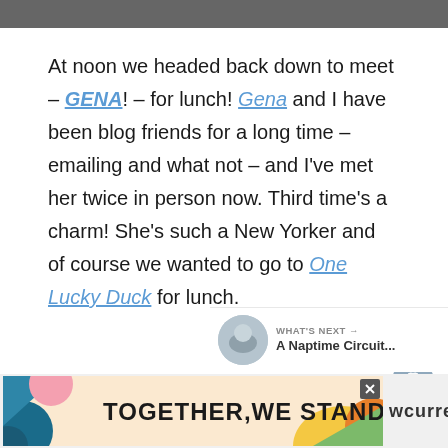[Figure (photo): Partial top of a photo, cropped at the top of the page]
At noon we headed back down to meet – GENA! – for lunch! Gena and I have been blog friends for a long time – emailing and what not – and I've met her twice in person now. Third time's a charm! She's such a New Yorker and of course we wanted to go to One Lucky Duck for lunch.
[Figure (other): Heart/like button icon (circular grey button with heart)]
[Figure (other): Share button icon (circular light grey button with share icon)]
WHAT'S NEXT → A Naptime Circuit...
[Figure (photo): Small circular thumbnail photo of a baby]
[Figure (other): Advertisement banner: TOGETHER, WE STAND with colorful design and Wealthsimple logo]